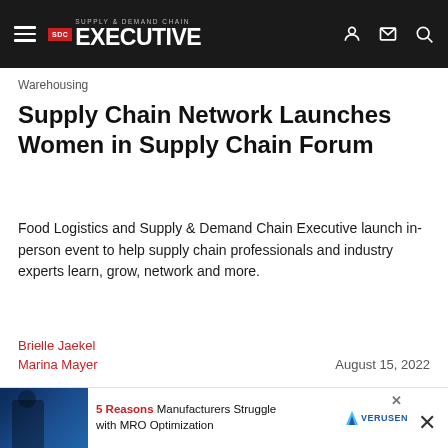Supply & Demand Chain Executive
Warehousing
Supply Chain Network Launches Women in Supply Chain Forum
Food Logistics and Supply & Demand Chain Executive launch in-person event to help supply chain professionals and industry experts learn, grow, network and more.
Brielle Jaekel
Marina Mayer
August 15, 2022
[Figure (advertisement): Verusen advertisement banner with blue gradient background and swoosh shapes showing the Verusen logo]
[Figure (advertisement): Bottom sticky ad: 5 Reasons Manufacturers Struggle with MRO Optimization - Verusen]